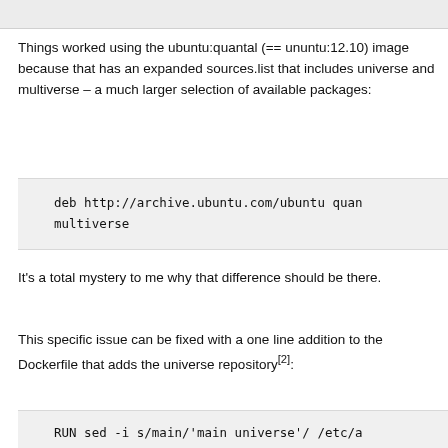Things worked using the ubuntu:quantal (== ununtu:12.10) image because that has an expanded sources.list that includes universe and multiverse – a much larger selection of available packages:
deb http://archive.ubuntu.com/ubuntu quan
multiverse
It's a total mystery to me why that difference should be there.
This specific issue can be fixed with a one line addition to the Dockerfile that adds the universe repository[2]:
RUN sed -i s/main/'main universe'/ /etc/a